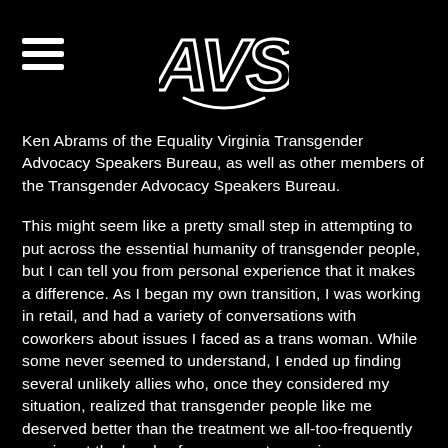AVS logo and hamburger menu
Ken Abrams of the Equality Virginia Transgender Advocacy Speakers Bureau, as well as other members of the Transgender Advocacy Speakers Bureau.
This might seem like a pretty small step in attempting to put across the essential humanity of transgender people, but I can tell you from personal experience that it makes a difference. As I began my own transition, I was working in retail, and had a variety of conversations with coworkers about issues I faced as a trans woman. While some never seemed to understand, I ended up finding several unlikely allies who, once they considered my situation, realized that transgender people like me deserved better than the treatment we all-too-frequently receive at the hands of government agencies.